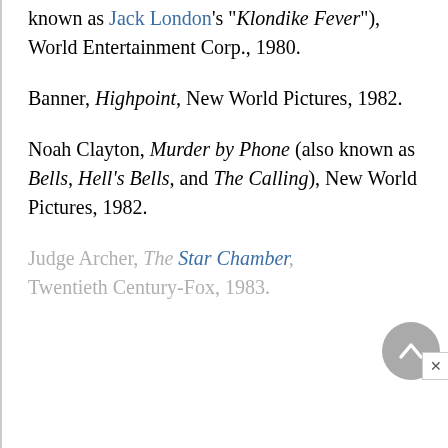known as Jack London's "Klondike Fever"), World Entertainment Corp., 1980.
Banner, Highpoint, New World Pictures, 1982.
Noah Clayton, Murder by Phone (also known as Bells, Hell's Bells, and The Calling), New World Pictures, 1982.
Judge Archer, The Star Chamber, Twentieth Century-Fox, 1983.